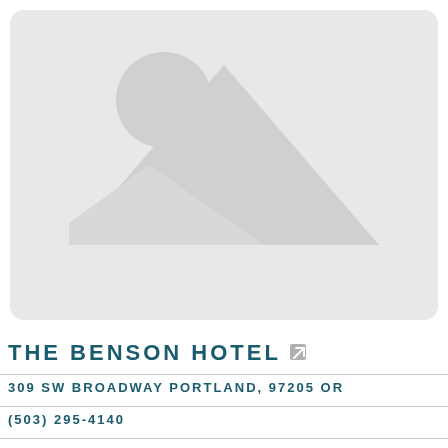[Figure (illustration): Placeholder image icon with mountain/landscape silhouette and circle (sun) on light gray background with rounded corners]
THE BENSON HOTEL
309 SW BROADWAY PORTLAND, 97205 OR
(503) 295-4140